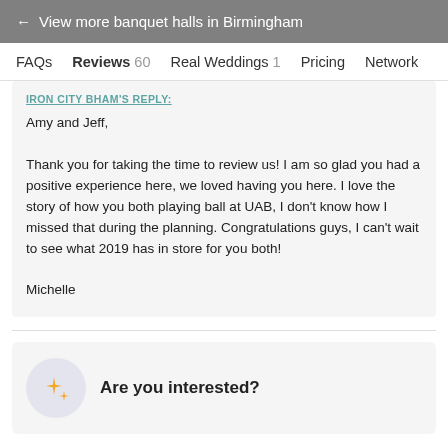← View more banquet halls in Birmingham
FAQs   Reviews 60   Real Weddings 1   Pricing   Network
IRON CITY BHAM'S REPLY:
Amy and Jeff,

Thank you for taking the time to review us! I am so glad you had a positive experience here, we loved having you here. I love the story of how you both playing ball at UAB, I don't know how I missed that during the planning. Congratulations guys, I can't wait to see what 2019 has in store for you both!

Michelle
Are you interested?